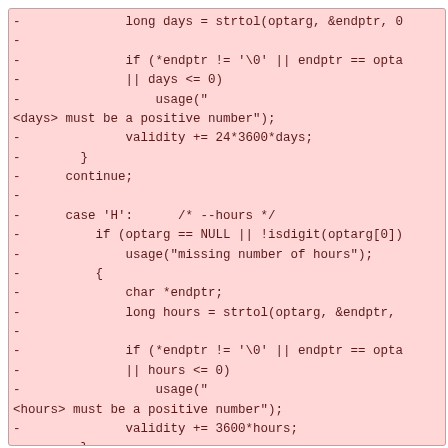[Figure (other): Code diff snippet showing deleted lines (prefixed with -) of C code handling --days and --hours command-line options, including strtol parsing, error checking, and validity calculations.]